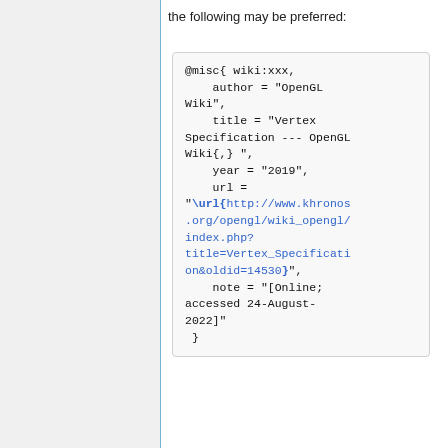the following may be preferred:
@misc{ wiki:xxx,
    author = "OpenGL Wiki",
    title = "Vertex Specification --- OpenGL Wiki{,} ",
    year = "2019",
    url = "\url{http://www.khronos.org/opengl/wiki_opengl/index.php?title=Vertex_Specification&oldid=14530}",
    note = "[Online; accessed 24-August-2022]"
 }